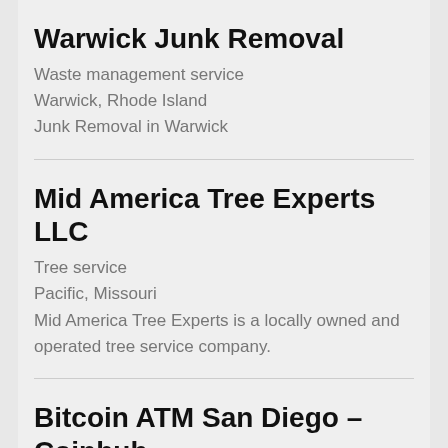Warwick Junk Removal
Waste management service
Warwick, Rhode Island
Junk Removal in Warwick
Mid America Tree Experts LLC
Tree service
Pacific, Missouri
Mid America Tree Experts is a locally owned and operated tree service company.
Bitcoin ATM San Diego – Coinhub